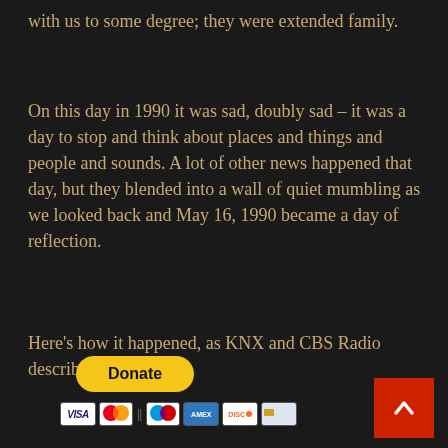with us to some degree; they were extended family.
On this day in 1990 it was sad, doubly sad – it was a day to stop and think about places and things and people and sounds. A lot of other news happened that day, but they blended into a wall of quiet mumbling as we looked back and May 16, 1990 became a day of reflection.
Here's how it happened, as KNX and CBS Radio described it.
[Figure (other): PayPal Donate button with payment method icons (Visa, Mastercard, American Express, Discover) and a red back-to-top arrow button]